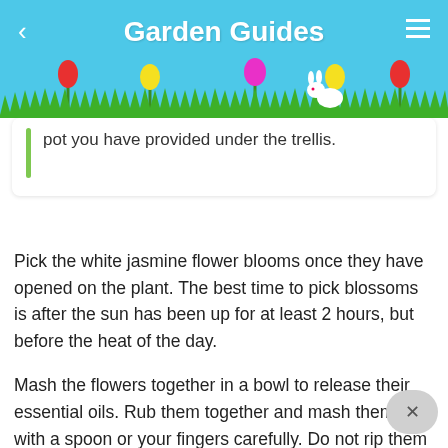Garden Guides
pot you have provided under the trellis.
Pick the white jasmine flower blooms once they have opened on the plant. The best time to pick blossoms is after the sun has been up for at least 2 hours, but before the heat of the day.
Mash the flowers together in a bowl to release their essential oils. Rub them together and mash them up with a spoon or your fingers carefully. Do not rip them up.
Boil water for the tea. For every cup of water, add 3 teaspoons of the jasmine blossoms. You can either